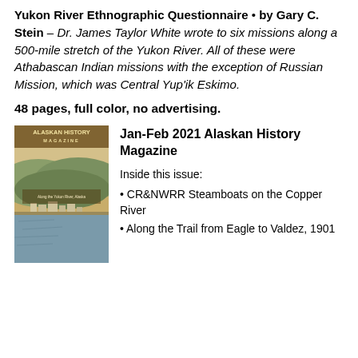Yukon River Ethnographic Questionnaire • by Gary C. Stein – Dr. James Taylor White wrote to six missions along a 500-mile stretch of the Yukon River. All of these were Athabascan Indian missions with the exception of Russian Mission, which was Central Yup'ik Eskimo.
48 pages, full color, no advertising.
[Figure (photo): Cover of Jan-Feb 2021 Alaskan History Magazine showing a watercolor-style landscape with a river, hills, and a small town along the shore.]
Jan-Feb 2021 Alaskan History Magazine
Inside this issue:
• CR&NWRR Steamboats on the Copper River
• Along the Trail from Eagle to Valdez, 1901